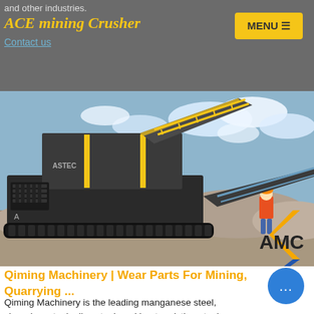and other industries.
ACE mining Crusher
Contact us
[Figure (photo): Large mobile mining crusher machine on tracks at a quarry site, with a worker in orange hi-vis gear standing next to it and an AMC logo overlaid in the bottom-right of the image]
Qiming Machinery | Wear Parts For Mining, Quarrying ...
Qiming Machinery is the leading manganese steel, chromium steel, alloy steel, and heat-resisting steel...